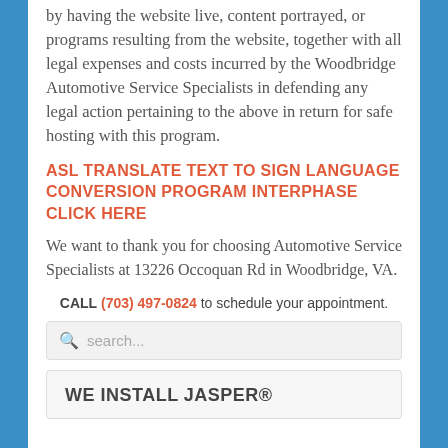by having the website live, content portrayed, or programs resulting from the website, together with all legal expenses and costs incurred by the Woodbridge Automotive Service Specialists in defending any legal action pertaining to the above in return for safe hosting with this program.
ASL TRANSLATE TEXT TO SIGN LANGUAGE CONVERSION PROGRAM INTERPHASE CLICK HERE
We want to thank you for choosing Automotive Service Specialists at 13226 Occoquan Rd in Woodbridge, VA.
CALL (703) 497-0824 to schedule your appointment.
search...
WE INSTALL JASPER®